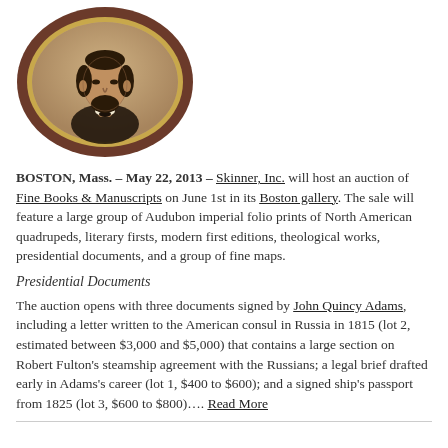[Figure (photo): Oval-framed portrait photograph of Abraham Lincoln in a dark wooden oval frame with gold inner border, showing Lincoln in formal attire with beard.]
BOSTON, Mass. – May 22, 2013 – Skinner, Inc. will host an auction of Fine Books & Manuscripts on June 1st in its Boston gallery. The sale will feature a large group of Audubon imperial folio prints of North American quadrupeds, literary firsts, modern first editions, theological works, presidential documents, and a group of fine maps.
Presidential Documents
The auction opens with three documents signed by John Quincy Adams, including a letter written to the American consul in Russia in 1815 (lot 2, estimated between $3,000 and $5,000) that contains a large section on Robert Fulton's steamship agreement with the Russians; a legal brief drafted early in Adams's career (lot 1, $400 to $600); and a signed ship's passport from 1825 (lot 3, $600 to $800)…. Read More